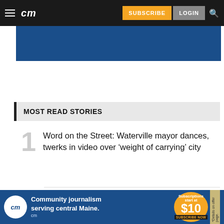cm  SUBSCRIBE  LOGIN
[Figure (other): Blue banner/advertisement area at top of page]
MOST READ STORIES
1 Word on the Street: Waterville mayor dances, twerks in video over ‘weight of carrying’ city
2 Waterville Planning Board to consider revision to housing plan for former Seton Hospital
[Figure (other): Bottom advertisement banner: Community journalism serving central Maine. Subscriptions start at $10. Subscribe Now.]